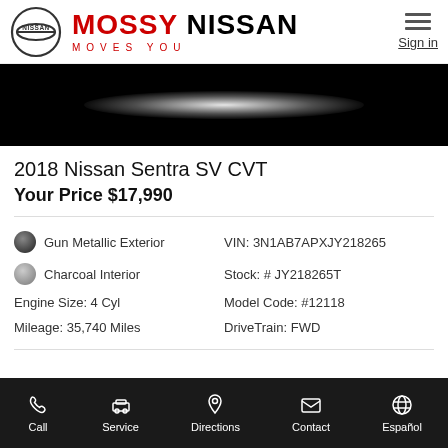[Figure (logo): Mossy Nissan dealership header logo with Nissan circular logo, 'MOSSY NISSAN' brand name in red and black, tagline 'MOVES YOU' in red, and Sign in link with hamburger menu]
[Figure (photo): Black background car image with bright white glowing oval highlight in center, appears to be a vehicle silhouette or teaser image]
2018 Nissan Sentra SV CVT
Your Price $17,990
Gun Metallic Exterior
Charcoal Interior
Engine Size: 4 Cyl
Mileage: 35,740 Miles
VIN: 3N1AB7APXJY218265
Stock: # JY218265T
Model Code: #12118
DriveTrain: FWD
Call  Service  Directions  Contact  Español